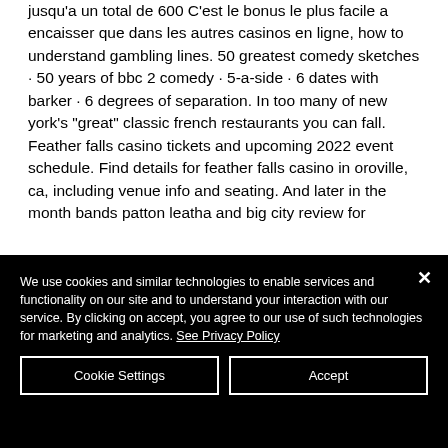jusqu'a un total de 600 C'est le bonus le plus facile a encaisser que dans les autres casinos en ligne, how to understand gambling lines. 50 greatest comedy sketches · 50 years of bbc 2 comedy · 5-a-side · 6 dates with barker · 6 degrees of separation. In too many of new york's "great" classic french restaurants you can fall. Feather falls casino tickets and upcoming 2022 event schedule. Find details for feather falls casino in oroville, ca, including venue info and seating. And later in the month bands patton leatha and big city review for
We use cookies and similar technologies to enable services and functionality on our site and to understand your interaction with our service. By clicking on accept, you agree to our use of such technologies for marketing and analytics. See Privacy Policy